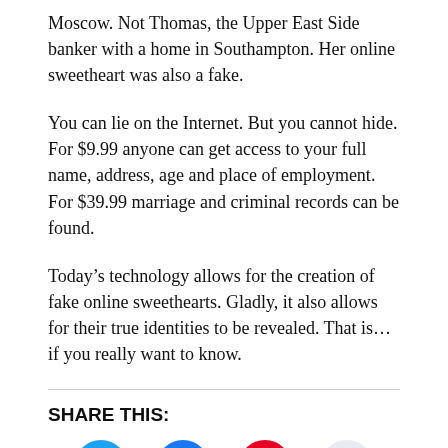Moscow. Not Thomas, the Upper East Side banker with a home in Southampton. Her online sweetheart was also a fake.
You can lie on the Internet. But you cannot hide. For $9.99 anyone can get access to your full name, address, age and place of employment. For $39.99 marriage and criminal records can be found.
Today’s technology allows for the creation of fake online sweethearts. Gladly, it also allows for their true identities to be revealed. That is… if you really want to know.
SHARE THIS:
[Figure (infographic): Social sharing buttons: Twitter (blue bird), Facebook (blue f), Pinterest (red P), Reddit (light gray alien), Email (light gray envelope), More button]